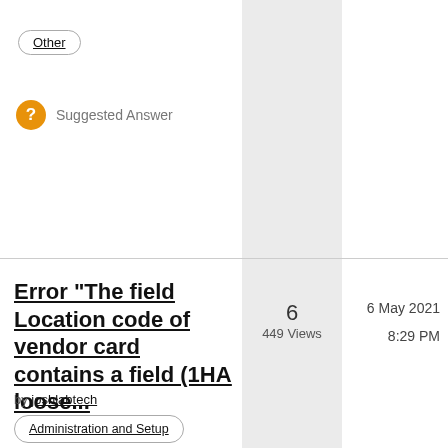Other
Suggested Answer
Error "The field Location code of vendor card contains a field (1HA loose...
by joshlabtech
6
449 Views
6 May 2021
8:29 PM
Administration and Setup
Localization
Microsoft Dynamics NAV 2019